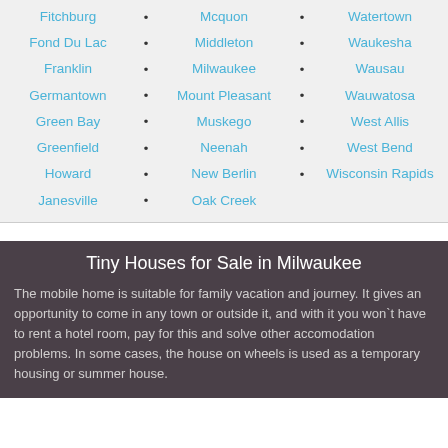Fitchburg
Mcquon
Watertown
Fond Du Lac
Middleton
Waukesha
Franklin
Milwaukee
Wausau
Germantown
Mount Pleasant
Wauwatosa
Green Bay
Muskego
West Allis
Greenfield
Neenah
West Bend
Howard
New Berlin
Wisconsin Rapids
Janesville
Oak Creek
Tiny Houses for Sale in Milwaukee
The mobile home is suitable for family vacation and journey. It gives an opportunity to come in any town or outside it, and with it you won`t have to rent a hotel room, pay for this and solve other accomodation problems. In some cases, the house on wheels is used as a temporary housing or summer house.